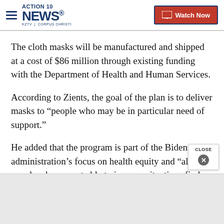ACTION 10 NEWS KZTV | CORPUS CHRISTI — Watch Now
The cloth masks will be manufactured and shipped at a cost of $86 million through existing funding with the Department of Health and Human Services.
According to Zients, the goal of the plan is to deliver masks to “people who may be in particular need of support.”
He added that the program is part of the Biden administration’s focus on health equity and “allows people who are not able to in some situations find or afford a mask to get a mask."